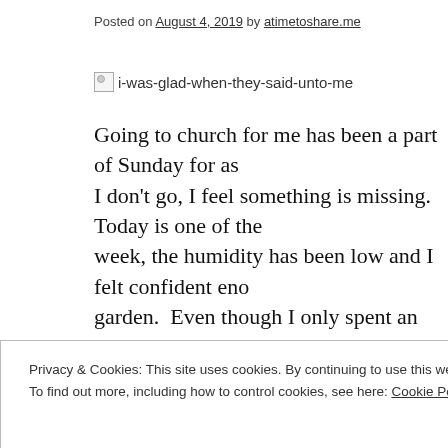Posted on August 4, 2019 by atimetoshare.me
[Figure (illustration): Broken image placeholder with alt text: i-was-glad-when-they-said-unto-me]
Going to church for me has been a part of Sunday for as I don't go, I feel something is missing.  Today is one of the week, the humidity has been low and I felt confident eno garden.  Even though I only spent an hour or two, my alle congestion wound up in my bronchial tubes.  That and th getting over a virus which set him coughing for two wee church today.  My cough could wake the dead and I really anyone else.
Privacy & Cookies: This site uses cookies. By continuing to use this website, you agree to their use.
To find out more, including how to control cookies, see here: Cookie Policy
Close and accept
Hopefully I will feel better by then.